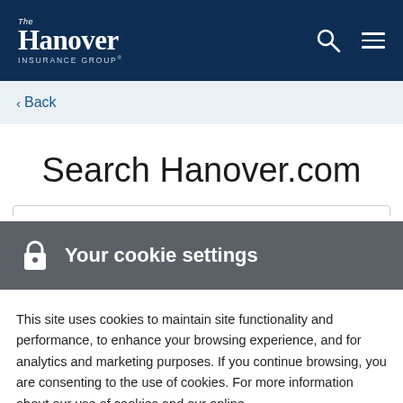The Hanover Insurance Group
< Back
Search Hanover.com
[Figure (screenshot): Cookie settings overlay banner with lock icon and title 'Your cookie settings' on dark gray background]
This site uses cookies to maintain site functionality and performance, to enhance your browsing experience, and for analytics and marketing purposes. If you continue browsing, you are consenting to the use of cookies. For more information about our use of cookies and our online